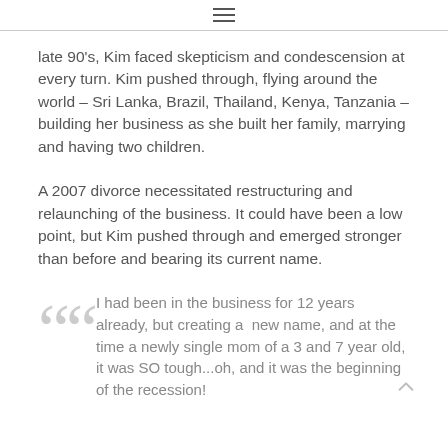≡
late 90's, Kim faced skepticism and condescension at every turn. Kim pushed through, flying around the world – Sri Lanka, Brazil, Thailand, Kenya, Tanzania – building her business as she built her family, marrying and having two children.
A 2007 divorce necessitated restructuring and relaunching of the business. It could have been a low point, but Kim pushed through and emerged stronger than before and bearing its current name.
I had been in the business for 12 years already, but creating a  new name, and at the time a newly single mom of a 3 and 7 year old, it was SO tough...oh, and it was the beginning of the recession!